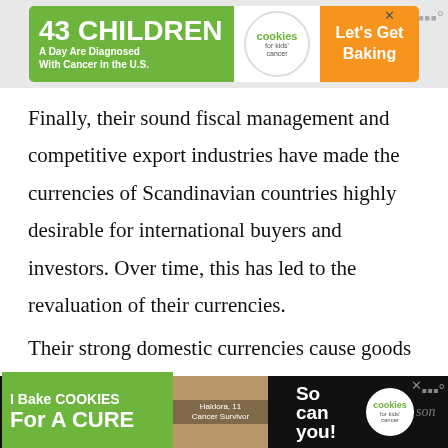[Figure (other): Top advertisement banner for cookies for kids' cancer charity: '43 CHILDREN A Day Are Diagnosed With Cancer in the U.S.' with cookies logo and 'Let's Get Baking' text on orange background]
Finally, their sound fiscal management and competitive export industries have made the currencies of Scandinavian countries highly desirable for international buyers and investors. Over time, this has led to the revaluation of their currencies.
Their strong domestic currencies cause goods priced in Scandinavian currencies to appear expensive in relation to goods priced in...
[Figure (other): Bottom advertisement banner for cookies for kids' cancer charity: 'I Bake COOKIES For A CURE' with photo of Haldora, 11 Cancer Survivor, and 'So can you!' text with cookies logo]